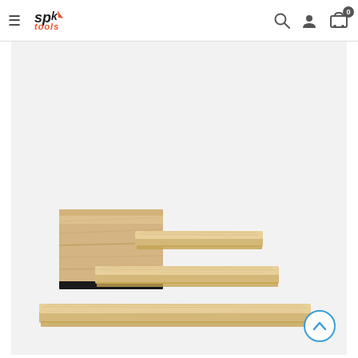[Figure (screenshot): E-commerce website header/navigation bar with hamburger menu, SPK Tools logo, search icon, account icon, and shopping cart with 0 items badge]
[Figure (photo): Product photo showing a set of floating wall shelves in light wood/pine finish. There are four shelves displayed in a staircase arrangement from smallest to largest, with the smallest shelf shown in close-up detail in the top-left corner of the product image area. The shelves vary in length and are shown on a light grey background.]